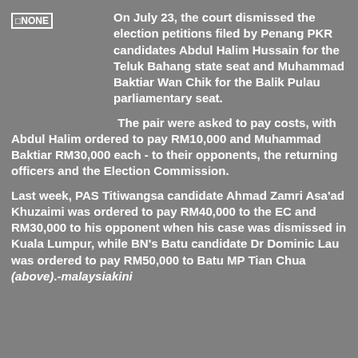[Figure (other): Placeholder image labeled NONE]
On July 23, the court dismissed the election petitions filed by Penang PKR candidates Abdul Halim Hussain for the Teluk Bahang state seat and Muhammad Baktiar Wan Chik for the Balik Pulau parliamentary seat.
The pair were asked to pay costs, with Abdul Halim ordered to pay RM10,000 and Muhammad Baktiar RM30,000 each - to their opponents, the returning officers and the Election Commission.
Last week, PAS Titiwangsa candidate Ahmad Zamri Asa'ad Khuzaimi was ordered to pay RM40,000 to the EC and RM30,000 to his opponent when his case was dismissed in Kuala Lumpur, while BN's Batu candidate Dr Dominic Lau was ordered to pay RM50,000 to Batu MP Tian Chua (above).-malaysiakini